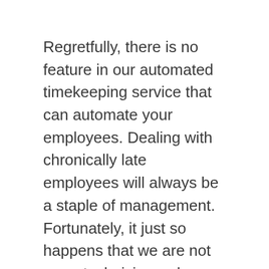Regretfully, there is no feature in our automated timekeeping service that can automate your employees. Dealing with chronically late employees will always be a staple of management. Fortunately, it just so happens that we are not mere technicians who install a product. Human resources is the field where we do business and so we take great professional interest in the scenarios that arise before and after our job is done.
Take this scenario for example. A nursing home facility has a time clock installed at its employee entrance, as well as the entrances to each of its “small homes” or “neighborhoods.” Soon,